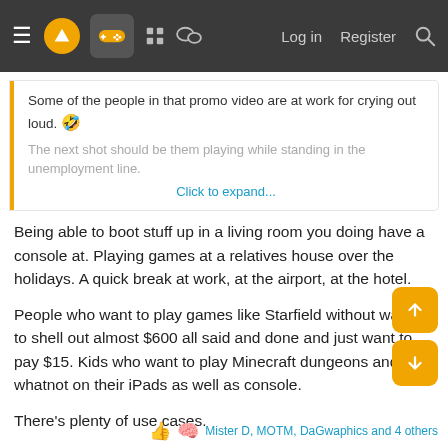≡ [logo] [gamepad] [grid] [chat] Log in Register [search]
Some of the people in that promo video are at work for crying out loud. 😂
The next shot should be them playing while standing in the unemployment line.
Click to expand...
Being able to boot stuff up in a living room you doing have a console at. Playing games at a relatives house over the holidays. A quick break at work, at the airport, at the hotel.
People who want to play games like Starfield without wanting to shell out almost $600 all said and done and just want to pay $15. Kids who want to play Minecraft dungeons and whatnot on their iPads as well as console.
There's plenty of use cases.
Mister D, MOTM, DaGwaphics and 4 others